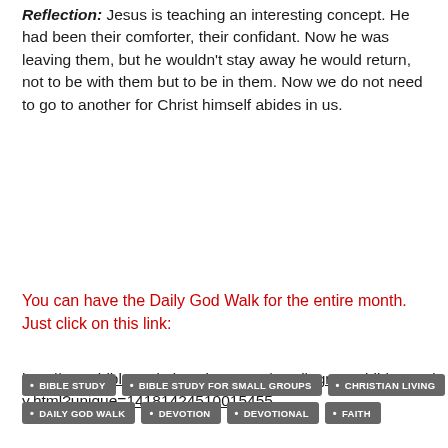Reflection: Jesus is teaching an interesting concept. He had been their comforter, their confidant. Now he was leaving them, but he wouldn't stay away he would return, not to be with them but to be in them. Now we do not need to go to another for Christ himself abides in us.
You can have the Daily God Walk for the entire month. Just click on this link:
http://www.biblestudydevotions.com/small_group_bible_study.html?unique=14181424510015455
BIBLE STUDY
BIBLE STUDY FOR SMALL GROUPS
CHRISTIAN LIVING
DAILY GOD WALK
DEVOTION
DEVOTIONAL
FAITH